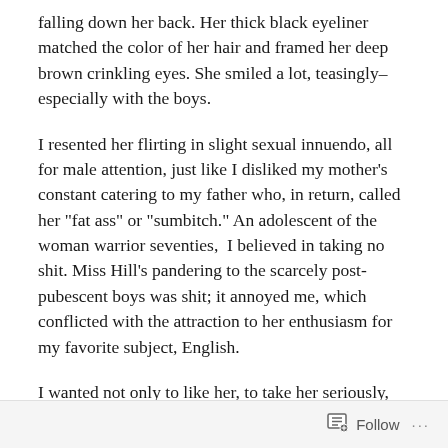falling down her back. Her thick black eyeliner matched the color of her hair and framed her deep brown crinkling eyes. She smiled a lot, teasingly–especially with the boys.
I resented her flirting in slight sexual innuendo, all for male attention, just like I disliked my mother's constant catering to my father who, in return, called her "fat ass" or "sumbitch." An adolescent of the woman warrior seventies,  I believed in taking no shit. Miss Hill's pandering to the scarcely post-pubescent boys was shit; it annoyed me, which conflicted with the attraction to her enthusiasm for my favorite subject, English.
I wanted not only to like her, to take her seriously, but for her to notice me, despite the quiet and unprepossessing persona I wore at the time. An 'A' student, I yearned to be
Follow ···